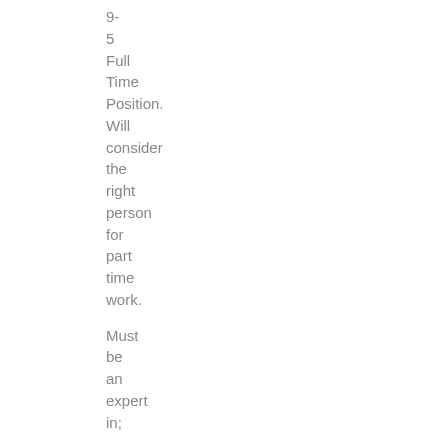9-5 Full Time Position. Will consider the right person for part time work.
Must be an expert in;
Photoshop
Illustrator
Dreamweaver and